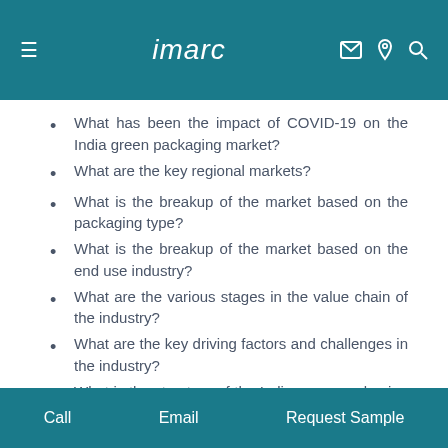imarc
What has been the impact of COVID-19 on the India green packaging market?
What are the key regional markets?
What is the breakup of the market based on the packaging type?
What is the breakup of the market based on the end use industry?
What are the various stages in the value chain of the industry?
What are the key driving factors and challenges in the industry?
What is the structure of the India green packaging market and who are the key players?
What is the degree of competition in the industry?
Call   Email   Request Sample